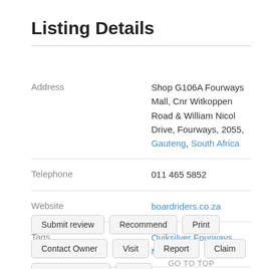Listing Details
| Field | Value |
| --- | --- |
| Address | Shop G106A Fourways Mall, Cnr Witkoppen Road & William Nicol Drive, Fourways, 2055, Gauteng, South Africa |
| Telephone | 011 465 5852 |
| Website | boardriders.co.za |
| Tags | Quiksilver Fourways Mall |
Submit review | Recommend | Print | Contact Owner | Visit | Report | Claim | Owner's listings | Map
GO TO TOP